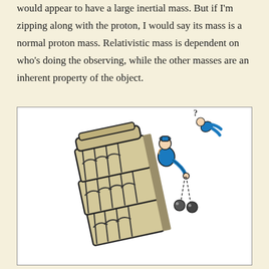would appear to have a large inertial mass. But if I'm zipping along with the proton, I would say its mass is a normal proton mass. Relativistic mass is dependent on who's doing the observing, while the other masses are an inherent property of the object.
[Figure (illustration): Cartoon illustration of the Leaning Tower of Pisa tilted to the right, with a cartoon scientist in blue leaning over the top dropping two balls on strings (Galileo's experiment). A small cartoon figure with a question mark appears to be flying away in the upper right.]